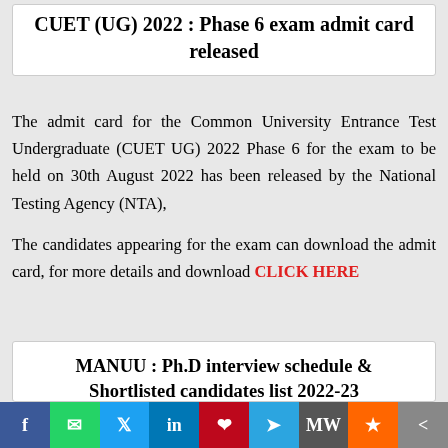CUET (UG) 2022 : Phase 6 exam admit card released
The admit card for the Common University Entrance Test Undergraduate (CUET UG) 2022 Phase 6 for the exam to be held on 30th August 2022 has been released by the National Testing Agency (NTA),
The candidates appearing for the exam can download the admit card, for more details and download CLICK HERE
MANUU : Ph.D interview schedule & Shortlisted candidates list 2022-23
f  w  y  in  p  telegram  MW  mix  more